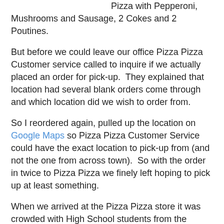Pizza with Pepperoni, Mushrooms and Sausage, 2 Cokes and 2 Poutines.
But before we could leave our office Pizza Pizza Customer service called to inquire if we actually placed an order for pick-up.  They explained that location had several blank orders come through and which location did we wish to order from.
So I reordered again, pulled up the location on Google Maps so Pizza Pizza Customer Service could have the exact location to pick-up from (and not the one from across town).  So with the order in twice to Pizza Pizza we finely left hoping to pick up at least something.
When we arrived at the Pizza Pizza store it was crowded with High School students from the nearby Dr. G.W. Williams Secondary School. I stood in line while my coworker went to see if he could flag down the guy behind the counter as we had preordered and just wanted to pay, pick up and leave.  There was only one server, as far as I could tell, wandering between the pizza oven, the cash register and